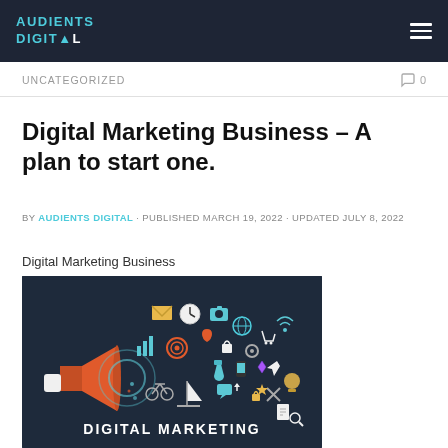AUDIENTS DIGITAL
UNCATEGORIZED
Digital Marketing Business – A plan to start one.
BY AUDIENTS DIGITAL · PUBLISHED MARCH 19, 2022 · UPDATED JULY 8, 2022
Digital Marketing Business
[Figure (illustration): Digital marketing themed illustration with dark navy background showing a megaphone/bullhorn on the left, surrounded by various digital marketing icons (email, clock, camera, globe, analytics, etc.) forming a cloud/burst shape. White text reads DIGITAL MARKETING at the bottom center.]